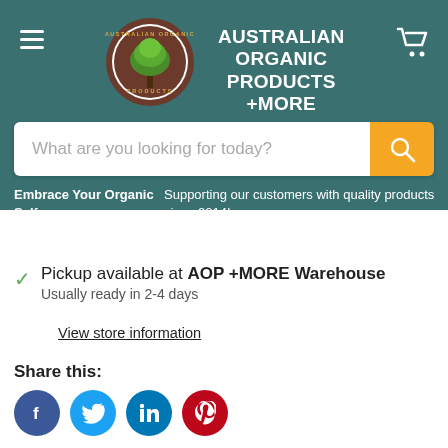AUSTRALIAN ORGANIC PRODUCTS +MORE
[Figure (logo): Australian Organic Products circular logo with tree]
What are you looking for today?
Embrace Your Organic Self   Supporting our customers with quality products since 2014!
Pickup available at AOP +MORE Warehouse
Usually ready in 2-4 days
View store information
Share this:
[Figure (infographic): Social media sharing icons: Facebook, Twitter, LinkedIn, Pinterest]
Fruit & Nut is smooth and creamy milk chocolate full of currant and